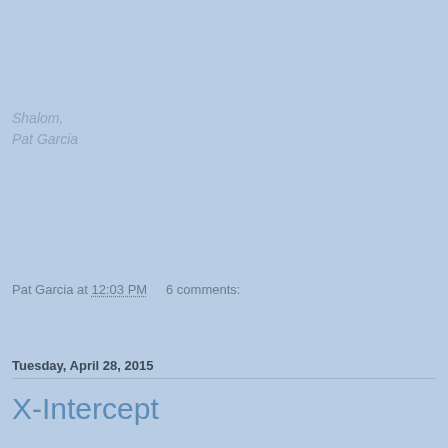Shalom,
Pat Garcia
Pat Garcia at 12:03 PM   6 comments:
Share
Tuesday, April 28, 2015
X-Intercept